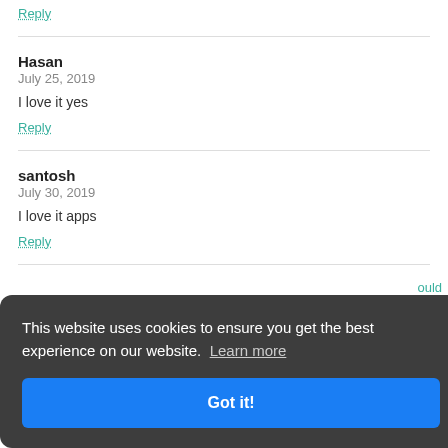Reply
Hasan
July 25, 2019
I love it yes
Reply
santosh
July 30, 2019
I love it apps
Reply
This website uses cookies to ensure you get the best experience on our website. Learn more
Got it!